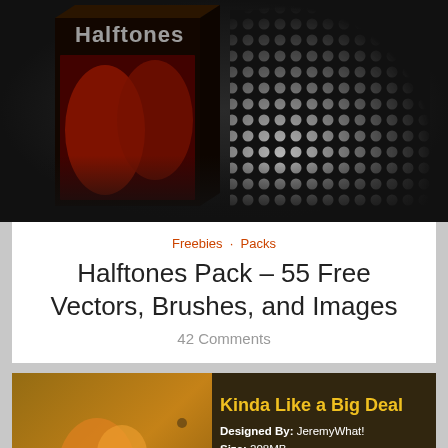[Figure (photo): Product box for 'Halftones' pack showing a dark box with red halftone figure on left, and a halftone dot pattern fade sample on the right, on dark background]
Freebies · Packs
Halftones Pack – 55 Free Vectors, Brushes, and Images
42 Comments
[Figure (screenshot): Second card showing 'Kinda Like a Big Deal' design pack with an illustrated artwork on left and product details text on right: Designed By: JeremyWhat!, Size: 208MB, Dimensions: 6000 x 6236, Resolution: 300 dpi, Format: Photoshop]